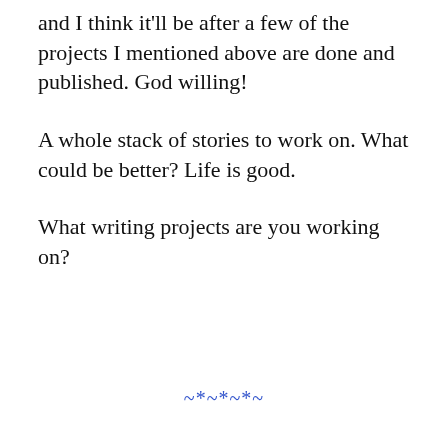and I think it'll be after a few of the projects I mentioned above are done and published. God willing!
A whole stack of stories to work on. What could be better? Life is good.
What writing projects are you working on?
~*~*~*~